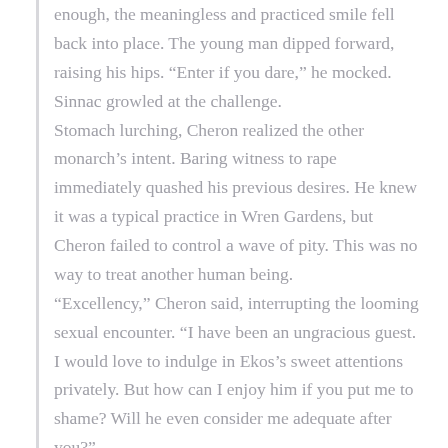enough, the meaningless and practiced smile fell back into place. The young man dipped forward, raising his hips. “Enter if you dare,” he mocked. Sinnac growled at the challenge. Stomach lurching, Cheron realized the other monarch’s intent. Baring witness to rape immediately quashed his previous desires. He knew it was a typical practice in Wren Gardens, but Cheron failed to control a wave of pity. This was no way to treat another human being. “Excellency,” Cheron said, interrupting the looming sexual encounter. “I have been an ungracious guest. I would love to indulge in Ekos’s sweet attentions privately. But how can I enjoy him if you put me to shame? Will he even consider me adequate after you?” “I’m sure I would, Majesty,” Ekos softly assured him.